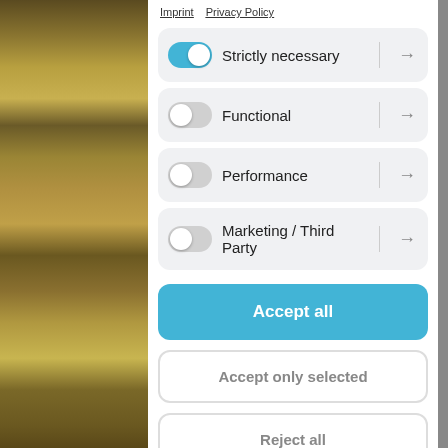[Figure (screenshot): Background image of metallic/golden curved surface (aircraft or instrument part)]
Imprint   Privacy Policy
Strictly necessary (toggle on, arrow button)
Functional (toggle off, arrow button)
Performance (toggle off, arrow button)
Marketing / Third Party (toggle off, arrow button)
Accept all
Accept only selected
Reject all